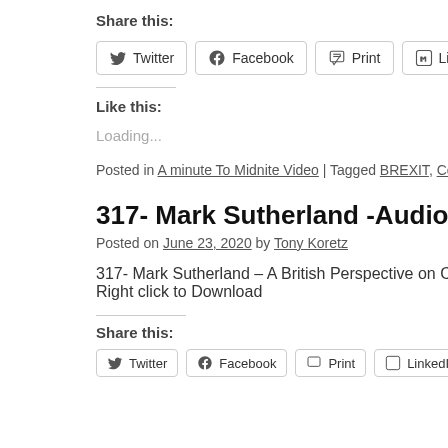Share this:
Twitter | Facebook | Print | LinkedIn | WhatsApp
Like this:
Loading...
Posted in A minute To Midnite Video | Tagged BREXIT, Covid-19, Mark Suthe...
317- Mark Sutherland -Audio Only Version
Posted on June 23, 2020 by Tony Koretz
317- Mark Sutherland – A British Perspective on Covid Lockdo... Right click to Download
Share this: